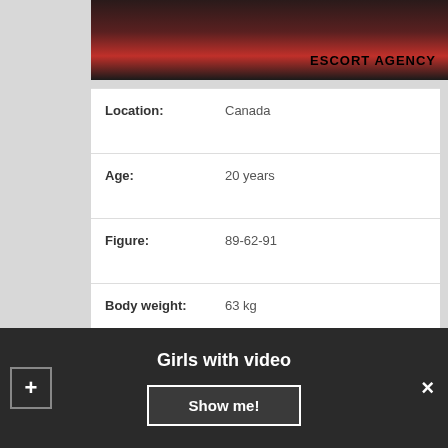[Figure (photo): Partial photo of a person in red clothing with 'ESCORT AGENCY' text overlay]
| Field | Value |
| --- | --- |
| Location: | Canada |
| Age: | 20 years |
| Figure: | 89-62-91 |
| Body weight: | 63 kg |
| Available: | 11:00 – 21:00 |
| NIGHT: | Yes |
| Sex Preferences: | Oral Without (at discretion), Golden shower (in), Humiliation (giving) |
Girls with video
Show me!